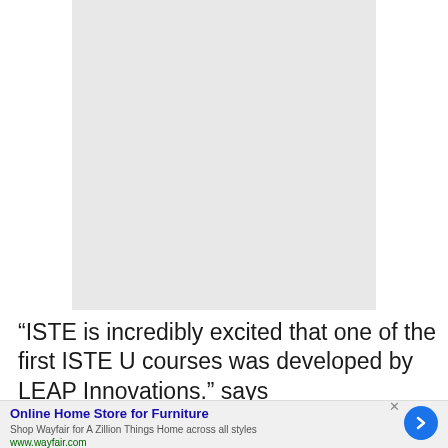[Figure (other): Light gray rectangular image placeholder area]
“ISTE is incredibly excited that one of the first ISTE U courses was developed by LEAP Innovations.” says
Online Home Store for Furniture
Shop Wayfair for A Zillion Things Home across all styles
www.wayfair.com